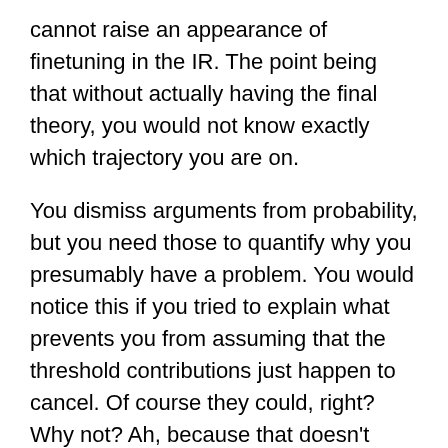cannot raise an appearance of finetuning in the IR. The point being that without actually having the final theory, you would not know exactly which trajectory you are on.
You dismiss arguments from probability, but you need those to quantify why you presumably have a problem. You would notice this if you tried to explain what prevents you from assuming that the threshold contributions just happen to cancel. Of course they could, right? Why not? Ah, because that doesn't seem likely. Now quantify “not likely”.
Finally let me add that since some people have made a habit of intentionally misunderstanding me, naturalness is a good criterion in some